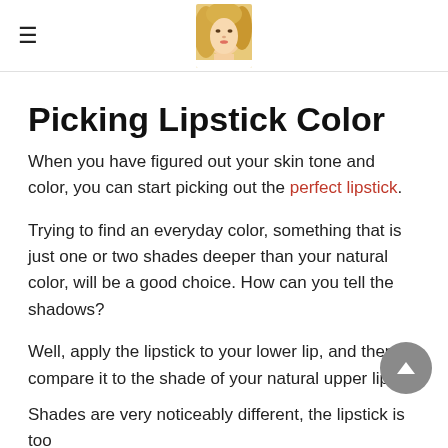[hamburger menu icon] [photo of blonde woman]
Picking Lipstick Color
When you have figured out your skin tone and color, you can start picking out the perfect lipstick.
Trying to find an everyday color, something that is just one or two shades deeper than your natural color, will be a good choice. How can you tell the shadows?
Well, apply the lipstick to your lower lip, and then compare it to the shade of your natural upper lip.
Shades are very noticeably different, the lipstick is too